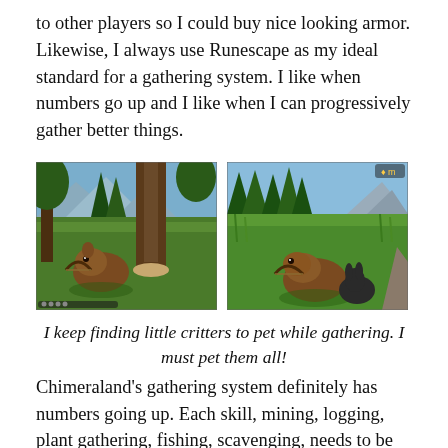to other players so I could buy nice looking armor. Likewise, I always use Runescape as my ideal standard for a gathering system. I like when numbers go up and I like when I can progressively gather better things.
[Figure (photo): Two side-by-side screenshots from a video game (Chimeraland) showing a beaver-like creature gathering/interacting in a forest environment with green grass, pine trees, and mountains in the background.]
I keep finding little critters to pet while gathering. I must pet them all!
Chimeraland's gathering system definitely has numbers going up. Each skill, mining, logging, plant gathering, fishing, scavenging, needs to be leveled up. While the level doesn't seem to effect the nodes I'm able to hit I think it affects the resources I'm able to extract from the